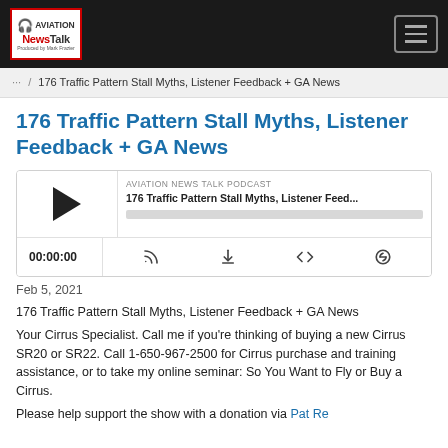Aviation NewsTalk Podcast — navigation header with logo and hamburger menu
/ 176 Traffic Pattern Stall Myths, Listener Feedback + GA News
176 Traffic Pattern Stall Myths, Listener Feedback + GA News
[Figure (other): Podcast audio player widget showing Aviation News Talk Podcast, episode '176 Traffic Pattern Stall Myths, Listener Feed...' with play button, progress bar, time display 00:00:00, and control icons (RSS, download, embed, share)]
Feb 5, 2021
176 Traffic Pattern Stall Myths, Listener Feedback + GA News
Your Cirrus Specialist. Call me if you're thinking of buying a new Cirrus SR20 or SR22. Call 1-650-967-2500 for Cirrus purchase and training assistance, or to take my online seminar: So You Want to Fly or Buy a Cirrus.
Please help support the show with a donation via Pat Re...